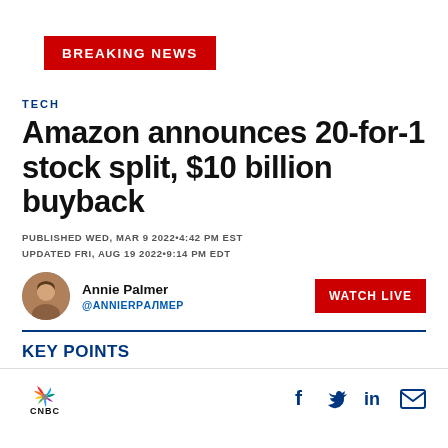BREAKING NEWS
TECH
Amazon announces 20-for-1 stock split, $10 billion buyback
PUBLISHED WED, MAR 9 2022•4:42 PM EST
UPDATED FRI, AUG 19 2022•9:14 PM EDT
Annie Palmer
@ANNIERPالمر
KEY POINTS
[Figure (logo): CNBC logo with colorful peacock symbol and CNBC text below]
[Figure (infographic): Social media share icons: Facebook, Twitter, LinkedIn, Email]